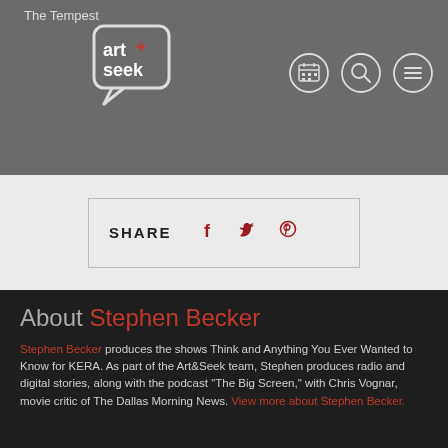The Tempest — Art+Seek header with navigation icons (calendar, search, menu)
SHARE
About Stephen Becker — Stephen Becker produces the shows Think and Anything You Ever Wanted to Know for KERA. As part of the Art&Seek team, Stephen produces radio and digital stories, along with the podcast "The Big Screen," with Chris Vognar, movie critic of The Dallas Morning News. View more about Stephen Becker.